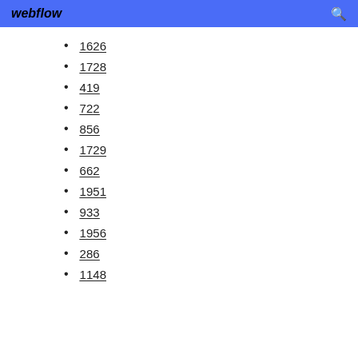webflow
1626
1728
419
722
856
1729
662
1951
933
1956
286
1148